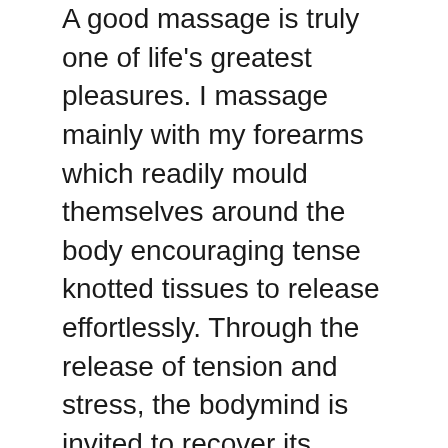A good massage is truly one of life's greatest pleasures. I massage mainly with my forearms which readily mould themselves around the body encouraging tense knotted tissues to release effortlessly. Through the release of tension and stress, the bodymind is invited to recover its natural state of innate balance and is thus fortified and rejuvenated. Supporting and harmonising both body and mind, massage therapy can be of benefit to everyone – whether your health is good or has room for improvement.
Therapeutic Massage is very often used to support other healing modalities. This is a thorough massage combining techniques from Swedish-, Deep-Tissue-, and No-Hands Massage to effortlessly soothe away muscular